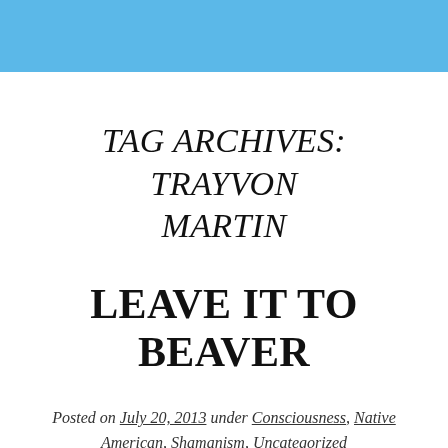TAG ARCHIVES: TRAYVON MARTIN
LEAVE IT TO BEAVER
Posted on July 20, 2013 under Consciousness, Native American, Shamanism, Uncategorized